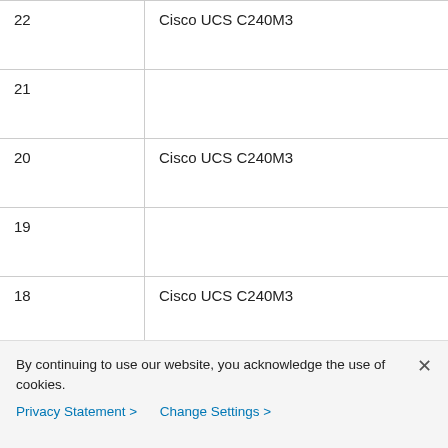| 22 | Cisco UCS C240M3 |
| 21 |  |
| 20 | Cisco UCS C240M3 |
| 19 |  |
| 18 | Cisco UCS C240M3 |
| 17 |  |
| 16 | Cisco UCS C240M3 |
By continuing to use our website, you acknowledge the use of cookies.
Privacy Statement > Change Settings >